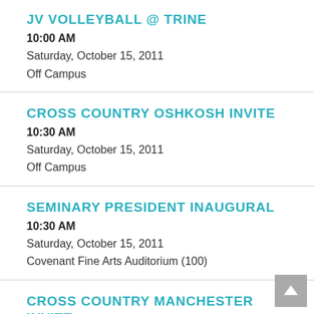JV VOLLEYBALL @ TRINE
10:00 AM
Saturday, October 15, 2011
Off Campus
CROSS COUNTRY OSHKOSH INVITE
10:30 AM
Saturday, October 15, 2011
Off Campus
SEMINARY PRESIDENT INAUGURAL
10:30 AM
Saturday, October 15, 2011
Covenant Fine Arts Auditorium (100)
CROSS COUNTRY MANCHESTER INVITE
11:00 AM